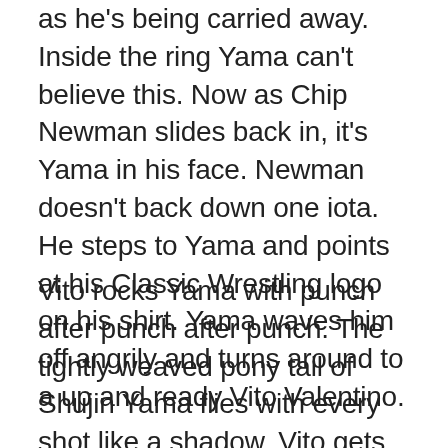as he's being carried away. Inside the ring Yama can't believe this. Now as Chip Newman slides back in, it's Yama in his face. Newman doesn't back down one iota. He steps to Yama and points at his Classic Wrestling logo on his shirt. Yama waves him off angrily and turns around to a up and ready Vito Valentino.
Vito rocks Yama with punch after punch after punch. The tightly weaved pony tail of Shujin Yama flies with every shot like a shadow. Vito gets faster with every punch. Finally he goes off the ropes and hits a clothesline but Yama doesn't go down, he just rocks back and forth like a boat on rough waters. Vito hits the ropes again and comes back with another clothesline that has Yama now on one foot trying to regain his balance. Not waiting for that to happen, Vito takes off once more and comes back with a third clothesline. Yama hits the mat hard and